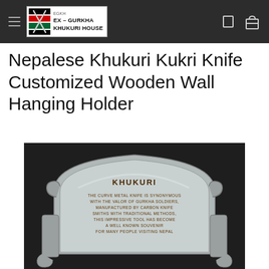Ex-Gurkha Khukuri House
Nepalese Khukuri Kukri Knife Customized Wooden Wall Hanging Holder
[Figure (photo): A metallic wooden wall hanging holder for khukuri knives with engraved text reading KHUKURI and a description about the curved metal knife being synonymous with the valor of Gurkha soldiers, manufactured by carbon knife smiths with traditional methods.]